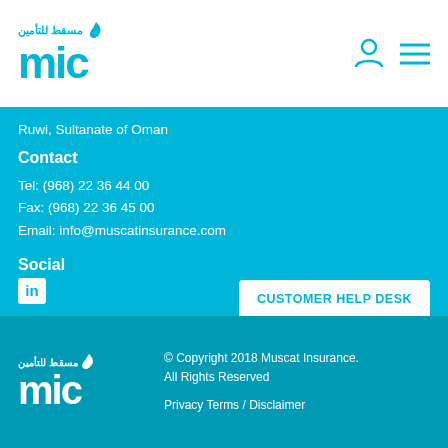mic (Muscat Insurance Company) logo with Arabic text مسقط للتأمين, with user icon and hamburger menu
Ruwi, Sultanate of Oman
Contact
Tel: (968) 22 36 44 00
Fax: (968) 22 36 45 00
Email: info@muscatinsurance.com
Social
[Figure (logo): LinkedIn icon (in logo on white background)]
CUSTOMER HELP DESK
Terms & Conditions | Privacy Policy | Delivery Policy | Cancellation, Refund and Return policy | Faq's | Disclaimer
mic logo (مسقط للتأمين) | © Copyright 2018 Muscat Insurance. All Rights Reserved | Privacy Terms / Disclaimer